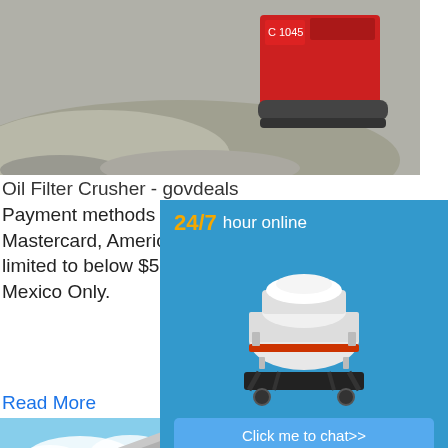[Figure (photo): Red mobile crusher machine on gravel/aggregate pile at a mining or quarry site]
Oil Filter Crusher - govdeals
Payment methods for this item are Wire Transfer, PayPal, or credit cards (Visa, Mastercard, American Express, Discover) only. PayPal and credit card purchases are limited to below $5,000.00 and Bidders residing in the United States, Canada and Mexico Only.
Read More
[Figure (photo): Mobile conveyor belt / screening plant equipment outdoors against blue sky]
Weyerhaeuser Raymond Mill Crusher Mills, Weyerhaeuser Lead stone Filer stone in Ra... (10/19/2012 From: Weyerhaeuser — 3 day...
[Figure (infographic): Advertisement panel: '24/7 hour online' with image of a cone crusher machine, 'Click me to chat>>' button, 'Enquiry' section, and 'limingjlmofen' branding]